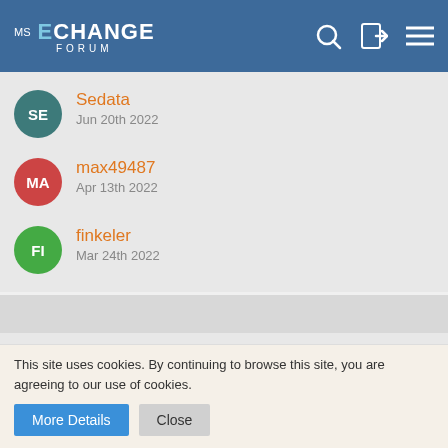MS EXCHANGE FORUM
Sedata
Jun 20th 2022
max49487
Apr 13th 2022
finkeler
Mar 24th 2022
Most Active Members
NobbyausHB
71,525 Points
This site uses cookies. By continuing to browse this site, you are agreeing to our use of cookies.